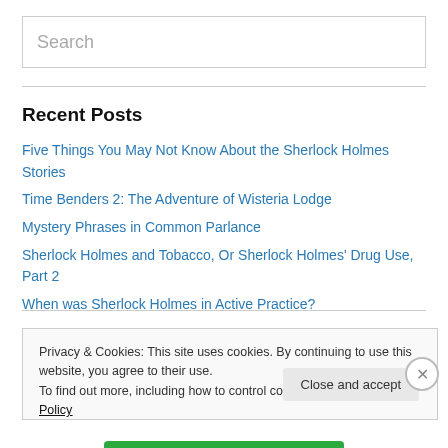Search
Recent Posts
Five Things You May Not Know About the Sherlock Holmes Stories
Time Benders 2: The Adventure of Wisteria Lodge
Mystery Phrases in Common Parlance
Sherlock Holmes and Tobacco, Or Sherlock Holmes' Drug Use, Part 2
When was Sherlock Holmes in Active Practice?
Privacy & Cookies: This site uses cookies. By continuing to use this website, you agree to their use. To find out more, including how to control cookies, see here: Cookie Policy